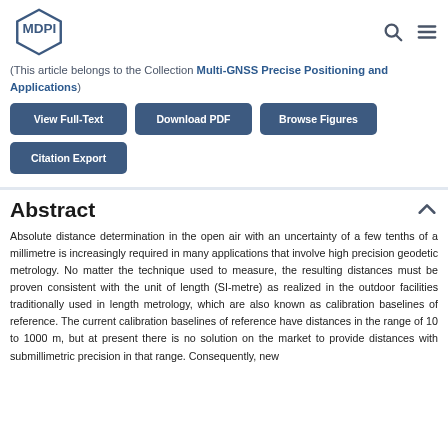MDPI
(This article belongs to the Collection Multi-GNSS Precise Positioning and Applications)
View Full-Text | Download PDF | Browse Figures | Citation Export
Abstract
Absolute distance determination in the open air with an uncertainty of a few tenths of a millimetre is increasingly required in many applications that involve high precision geodetic metrology. No matter the technique used to measure, the resulting distances must be proven consistent with the unit of length (SI-metre) as realized in the outdoor facilities traditionally used in length metrology, which are also known as calibration baselines of reference. The current calibration baselines of reference have distances in the range of 10 to 1000 m, but at present there is no solution on the market to provide distances with submillimetric precision in that range. Consequently, new